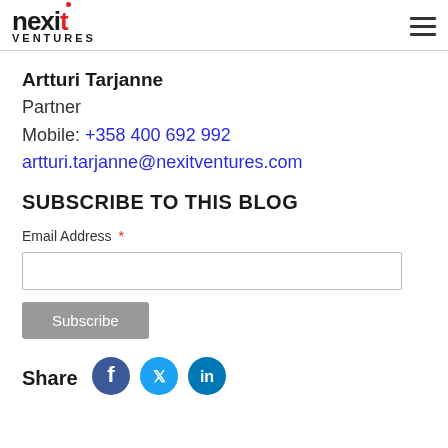nexit ventures
Artturi Tarjanne
Partner
Mobile: +358 400 692 992
artturi.tarjanne@nexitventures.com
SUBSCRIBE TO THIS BLOG
Email Address *
Subscribe
Share